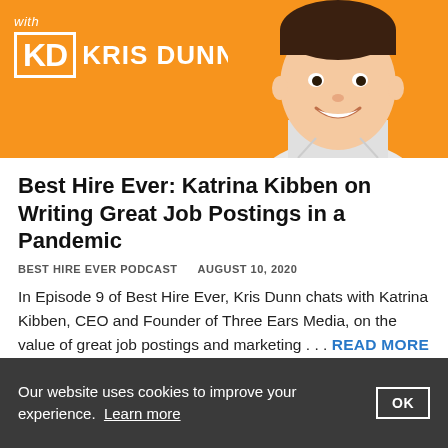[Figure (illustration): Orange podcast banner with 'with KD KRIS DUNN' logo on left and cartoon illustration of a smiling man on the right]
Best Hire Ever: Katrina Kibben on Writing Great Job Postings in a Pandemic
BEST HIRE EVER PODCAST    AUGUST 10, 2020
In Episode 9 of Best Hire Ever, Kris Dunn chats with Katrina Kibben, CEO and Founder of Three Ears Media, on the value of great job postings and marketing . . . READ MORE
[Figure (photo): Dark blue tech-themed image showing circular icons with check mark and gear/settings symbol, suggesting digital hiring or screening technology]
Our website uses cookies to improve your experience. Learn more